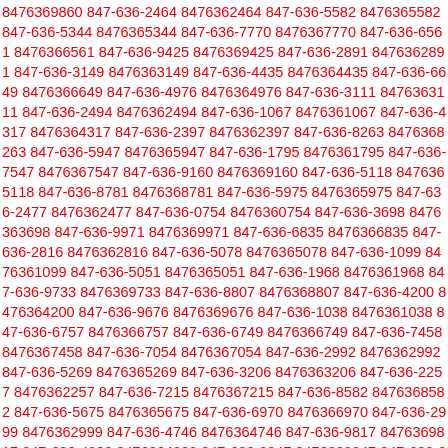8476369860 847-636-2464 8476362464 847-636-5582 8476365582 847-636-5344 8476365344 847-636-7770 8476367770 847-636-6561 8476366561 847-636-9425 8476369425 847-636-2891 8476362891 847-636-3149 8476363149 847-636-4435 8476364435 847-636-6649 8476366649 847-636-4976 8476364976 847-636-3111 8476363111 847-636-2494 8476362494 847-636-1067 8476361067 847-636-4317 8476364317 847-636-2397 8476362397 847-636-8263 8476368263 847-636-5947 8476365947 847-636-1795 8476361795 847-636-7547 8476367547 847-636-9160 8476369160 847-636-5118 8476365118 847-636-8781 8476368781 847-636-5975 8476365975 847-636-2477 8476362477 847-636-0754 8476360754 847-636-3698 8476363698 847-636-9971 8476369971 847-636-6835 8476366835 847-636-2816 8476362816 847-636-5078 8476365078 847-636-1099 8476361099 847-636-5051 8476365051 847-636-1968 8476361968 847-636-9733 8476369733 847-636-8807 8476368807 847-636-4200 8476364200 847-636-9676 8476369676 847-636-1038 8476361038 847-636-6757 8476366757 847-636-6749 8476366749 847-636-7458 8476367458 847-636-7054 8476367054 847-636-2992 8476362992 847-636-5269 8476365269 847-636-3206 8476363206 847-636-2257 8476362257 847-636-7215 8476367215 847-636-8582 8476368582 847-636-5675 8476365675 847-636-6970 8476366970 847-636-2999 8476362999 847-636-4746 8476364746 847-636-9817 8476369817 847-636-4930 8476364930 847-636-2047 8476362047 847-636-9452 8476369452 847-636-6576 8476366576 847-636-2712 8476362712 847-636-2248 8476362248 847-636-7859 8476367859 847-636-6315 8476366315 847-636-4444 8476364444 847-636-3334 8476363334